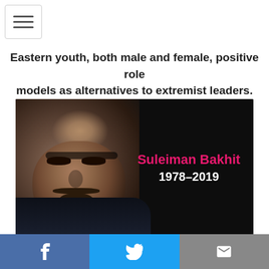[Figure (other): Menu/hamburger button icon in top left corner]
Eastern youth, both male and female, positive role models as alternatives to extremist leaders.
[Figure (photo): Photo of Suleiman Bakhit (1978-2019) against dark background, with his name in pink and years in white text. A bald man with a goatee and mustache wearing a dark jacket.]
(Photo courtesy of Human Rights Foundation)
[Figure (other): Social share bar with Facebook, Twitter, and email buttons]